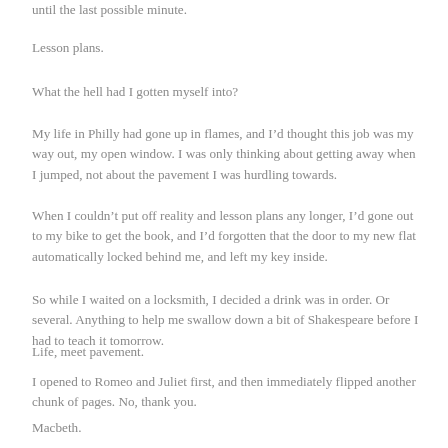until the last possible minute.
Lesson plans.
What the hell had I gotten myself into?
My life in Philly had gone up in flames, and I’d thought this job was my way out, my open window. I was only thinking about getting away when I jumped, not about the pavement I was hurdling towards.
When I couldn’t put off reality and lesson plans any longer, I’d gone out to my bike to get the book, and I’d forgotten that the door to my new flat automatically locked behind me, and left my key inside.
So while I waited on a locksmith, I decided a drink was in order. Or several. Anything to help me swallow down a bit of Shakespeare before I had to teach it tomorrow.
Life, meet pavement.
I opened to Romeo and Juliet first, and then immediately flipped another chunk of pages. No, thank you.
Macbeth.